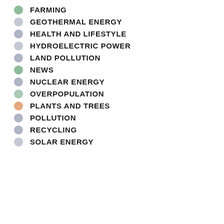FARMING
GEOTHERMAL ENERGY
HEALTH AND LIFESTYLE
HYDROELECTRIC POWER
LAND POLLUTION
NEWS
NUCLEAR ENERGY
OVERPOPULATION
PLANTS AND TREES
POLLUTION
RECYCLING
SOLAR ENERGY